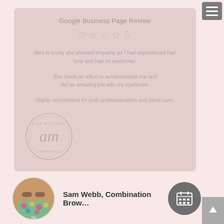[Figure (screenshot): Google Business Page Review card with 5 stars and review text on pink/mauve background with watermark logo]
Google Business Page Review
Alex is lovely  she showed empathy as I had experienced hair loss and had no eyebrows.

She made an effort to accommodate me and did an amazing job with my eyebrows.

Highly recommend for both professionalism and client care.
[Figure (photo): Circular profile photo of Sam Webb wearing a floral face mask]
Sam Webb, Combination Brow…